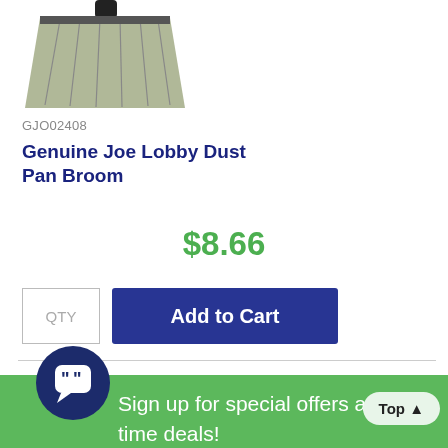[Figure (illustration): Partial image of a lobby broom/dust pan broom with gray bristles and black handle, cropped at top of page]
GJO02408
Genuine Joe Lobby Dust Pan Broom
$8.66
QTY
Add to Cart
[Figure (illustration): Chat bot icon - circular dark blue icon with quotation marks and a smiling face]
Sign up for special offers and lim
Top ^
time deals!